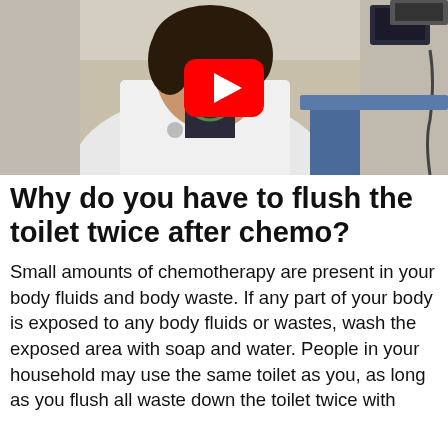[Figure (photo): Video thumbnail showing a female doctor in a white lab coat in a medical setting, with a red YouTube play button overlay in the center.]
Why do you have to flush the toilet twice after chemo?
Small amounts of chemotherapy are present in your body fluids and body waste. If any part of your body is exposed to any body fluids or wastes, wash the exposed area with soap and water. People in your household may use the same toilet as you, as long as you flush all waste down the toilet twice with